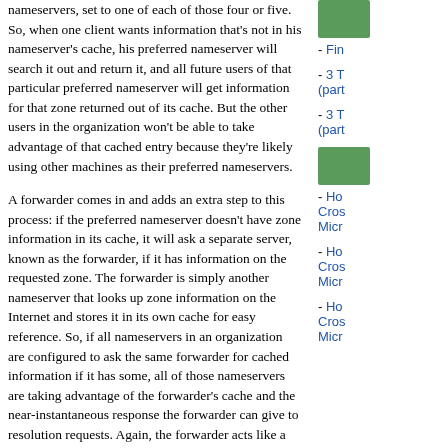nameservers, set to one of each of those four or five. So, when one client wants information that's not in his nameserver's cache, his preferred nameserver will search it out and return it, and all future users of that particular preferred nameserver will get information for that zone returned out of its cache. But the other users in the organization won't be able to take advantage of that cached entry because they're likely using other machines as their preferred nameservers.
A forwarder comes in and adds an extra step to this process: if the preferred nameserver doesn't have zone information in its cache, it will ask a separate server, known as the forwarder, if it has information on the requested zone. The forwarder is simply another nameserver that looks up zone information on the Internet and stores it in its own cache for easy reference. So, if all nameservers in an organization are configured to ask the same forwarder for cached information if it has some, all of those nameservers are taking advantage of the forwarder's cache and the near-instantaneous response the forwarder can give to resolution requests. Again, the forwarder acts like a regular nameserver in all respects; it's just that other nameservers in an organization are configured so that they can use the forwarder's cache. If, however, the forwarder machine takes too long to respond to a request, the original preferred nameserver can take over and make a request to the Internet itself, so you don't lose the ability to resolve DNS requests—you're only making it more efficient. You also can have more than one forwarder for your organization if you're worried about a single point of failure, but you lose a bit of the advantage because you're again using more than one cache database.
Now, to set up forwarding:
[Figure (other): Green box graphic in right sidebar]
- Fin
- 3 T (part
- 3 T (part
[Figure (other): Green box graphic in right sidebar]
- Ho Cros Micr
- Ho Cros Micr
- Ho Cros Micr